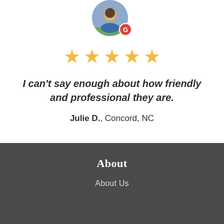[Figure (photo): Circular profile photo of a person with a Google 'G' badge overlay in the bottom-right corner]
[Figure (other): Five gold star rating icons]
I can't say enough about how friendly and professional they are.
Julie D., Concord, NC
About
About Us